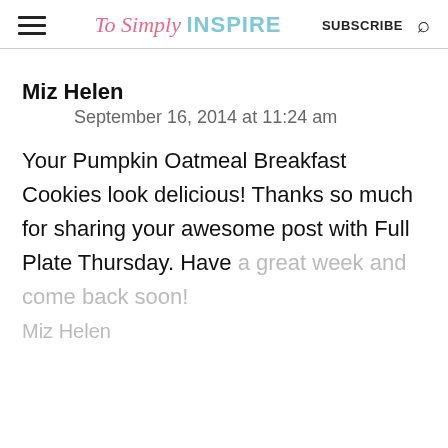To Simply INSPIRE   SUBSCRIBE
Miz Helen
September 16, 2014 at 11:24 am
Your Pumpkin Oatmeal Breakfast Cookies look delicious! Thanks so much for sharing your awesome post with Full Plate Thursday. Have a great week and come back soon!
Miz Helen